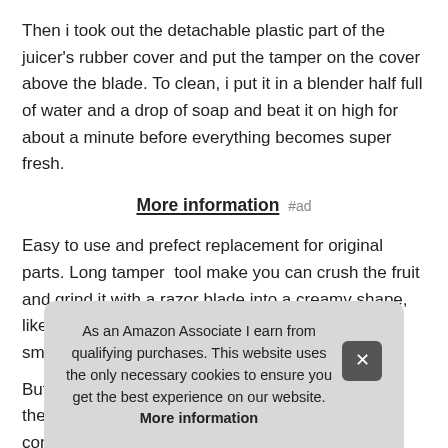Then i took out the detachable plastic part of the juicer's rubber cover and put the tamper on the cover above the blade. To clean, i put it in a blender half full of water and a drop of soap and beat it on high for about a minute before everything becomes super fresh.
More information #ad
Easy to use and prefect replacement for original parts. Long tamper  tool make you can crush the fruit and grind it with a razor blade into a creamy shape, like ice cream. The masher is handy for making smoothies or grinding vegetables and frozen fruit.
But [partially obscured] the [partially obscured] con[tinued obscured] through. Not genuine, superior toughness, not easy to
As an Amazon Associate I earn from qualifying purchases. This website uses the only necessary cookies to ensure you get the best experience on our website. More information